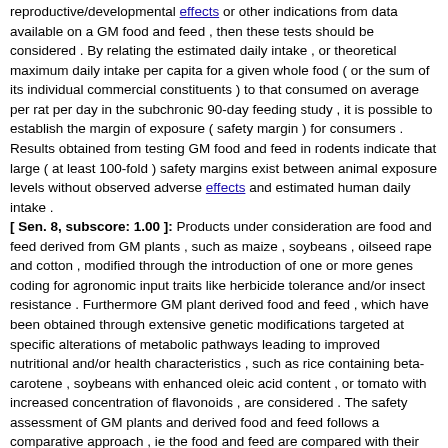reproductive/developmental effects or other indications from data available on a GM food and feed , then these tests should be considered . By relating the estimated daily intake , or theoretical maximum daily intake per capita for a given whole food ( or the sum of its individual commercial constituents ) to that consumed on average per rat per day in the subchronic 90-day feeding study , it is possible to establish the margin of exposure ( safety margin ) for consumers . Results obtained from testing GM food and feed in rodents indicate that large ( at least 100-fold ) safety margins exist between animal exposure levels without observed adverse effects and estimated human daily intake . [ Sen. 8, subscore: 1.00 ]: Products under consideration are food and feed derived from GM plants , such as maize , soybeans , oilseed rape and cotton , modified through the introduction of one or more genes coding for agronomic input traits like herbicide tolerance and/or insect resistance . Furthermore GM plant derived food and feed , which have been obtained through extensive genetic modifications targeted at specific alterations of metabolic pathways leading to improved nutritional and/or health characteristics , such as rice containing beta-carotene , soybeans with enhanced oleic acid content , or tomato with increased concentration of flavonoids , are considered . The safety assessment of GM plants and derived food and feed follows a comparative approach , ie the food and feed are compared with their non-GM counterparts in order to identify intended and unintended ( unexpected ) differences which subsequently are assessed with respect to their potential impact on the environment , safety for humans and animals , and nutritional quality . Key elements of the assessment procedure are the molecular , compositional , phenotypic and agronomic analysis in order to identify similarities and differences between the GM plant and its near isogenic counterpart . The safety assessment is focussed on ( i ) the presence and characteristics of newly expressed proteins and other new constituents and possible changes in the level of natural